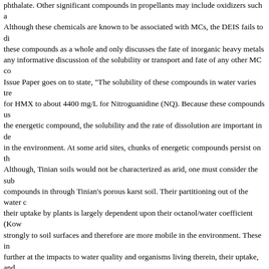phthalate. Other significant compounds in propellants may include oxidizers such as Although these chemicals are known to be associated with MCs, the DEIS fails to di these compounds as a whole and only discusses the fate of inorganic heavy metals any informative discussion of the solubility or transport and fate of any other MC co Issue Paper goes on to state, "The solubility of these compounds in water varies tre for HMX to about 4400 mg/L for Nitroguanidine (NQ). Because these compounds us the energetic compound, the solubility and the rate of dissolution are important in de in the environment. At some arid sites, chunks of energetic compounds persist on th Although, Tinian soils would not be characterized as arid, one must consider the sub compounds in through Tinian's porous karst soil. Their partitioning out of the water c their uptake by plants is largely dependent upon their octanol/water coefficient (Kow strongly to soil surfaces and therefore are more mobile in the environment. These in further at the impacts to water quality and organisms living therein, their uptake, and compounds like TNT, or PentaerythritolTetranitrate (PETN) with high Kows will rema Therefore, substrate sampling will be required to determine MC post activity levels a environmental fate According to the EPA Issue Paper, the metals one would encoun Antimony (SB), Tungsten (W), and Zinc (Zn). The Non-Energetic contaminants inclu Ethylene dibromide (EDB), dioxin, furans, polychlorinated biphenyls (PCBs), polychl herbicides, pesticides, dyes, metals, volatile organic compounds (VOCs), and semi- these the Issue Paper states that the following MCs can be found in ground water a (MMR): metals (Cu, Pb, Sb, W, Zn), dioxins, furans, RDX, HMX, ADNT, DNTs, TNT, contaminated with: Metals (Cu, Pb, Sb, W, Zn), dioxin, furan, PCN, DNTs, phthalate TNT, NG, and perchlorate. On top of assessing energetic and non-energetic MCs, m values used. The DEIS cites a US Marine Corps report which studied "sediments ar constituents related to munitions at several" training ranges and found no munition c range lists health-based environmental screening levels for a few chemical contami